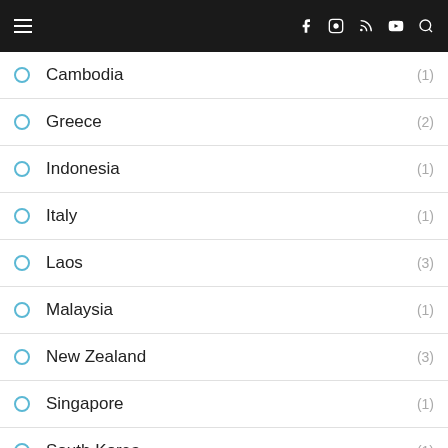Navigation menu with social icons
Cambodia (1)
Greece (2)
Indonesia (1)
Italy (1)
Laos (3)
Malaysia (1)
New Zealand (3)
Singapore (1)
South Korea (1)